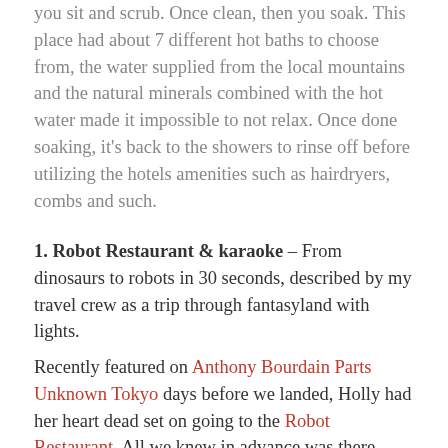you sit and scrub. Once clean, then you soak. This place had about 7 different hot baths to choose from, the water supplied from the local mountains and the natural minerals combined with the hot water made it impossible to not relax. Once done soaking, it’s back to the showers to rinse off before utilizing the hotels amenities such as hairdryers, combs and such.
1. Robot Restaurant & karaoke – From dinosaurs to robots in 30 seconds, described by my travel crew as a trip through fantasyland with lights.
Recently featured on Anthony Bourdain Parts Unknown Tokyo days before we landed, Holly had her heart dead set on going to the Robot Restaurant. All we knew in advance was there were